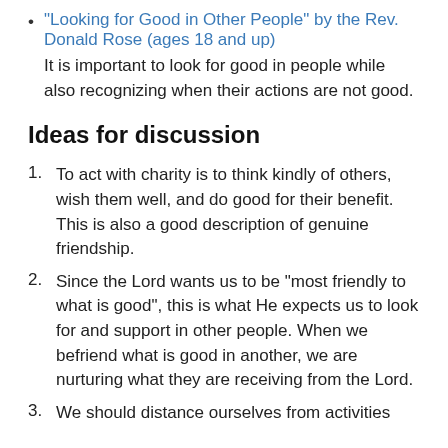"Looking for Good in Other People" by the Rev. Donald Rose (ages 18 and up)
It is important to look for good in people while also recognizing when their actions are not good.
Ideas for discussion
To act with charity is to think kindly of others, wish them well, and do good for their benefit. This is also a good description of genuine friendship.
Since the Lord wants us to be “most friendly to what is good”, this is what He expects us to look for and support in other people. When we befriend what is good in another, we are nurturing what they are receiving from the Lord.
We should distance ourselves from activities